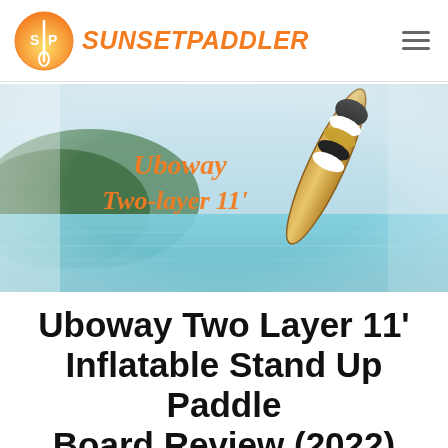SUNSETPADDLER
[Figure (photo): Hero promotional image for Uboway Two-layer 11' inflatable stand up paddle board, showing a striped paddle board standing upright in turquoise water with a mountain/lake backdrop, with orange italic text overlay reading 'Uboway Two-layer 11']
Uboway Two Layer 11' Inflatable Stand Up Paddle Board Review (2022)